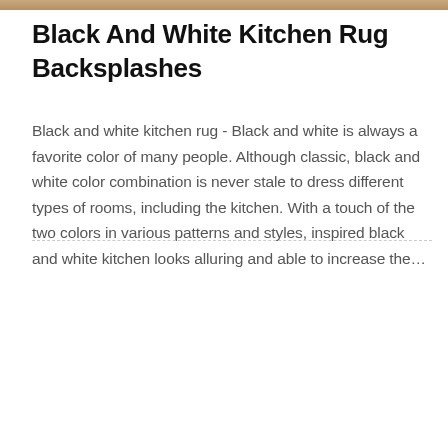[Figure (photo): Cropped photo strip at the top of the page, showing a kitchen scene in brown/tan tones]
Black And White Kitchen Rug Backsplashes
Black and white kitchen rug - Black and white is always a favorite color of many people. Although classic, black and white color combination is never stale to dress different types of rooms, including the kitchen. With a touch of the two colors in various patterns and styles, inspired black and white kitchen looks alluring and able to increase the…